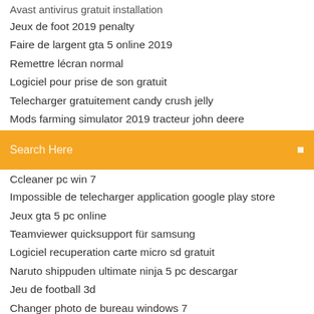Avast antivirus gratuit installation
Jeux de foot 2019 penalty
Faire de largent gta 5 online 2019
Remettre lécran normal
Logiciel pour prise de son gratuit
Telecharger gratuitement candy crush jelly
Mods farming simulator 2019 tracteur john deere
[Figure (screenshot): Search bar with orange background and placeholder text 'Search Here']
Ccleaner pc win 7
Impossible de telecharger application google play store
Jeux gta 5 pc online
Teamviewer quicksupport für samsung
Logiciel recuperation carte micro sd gratuit
Naruto shippuden ultimate ninja 5 pc descargar
Jeu de football 3d
Changer photo de bureau windows 7
Telecharger gratuitement les sims 4 pc
Pdf xchange viewer for windows 10